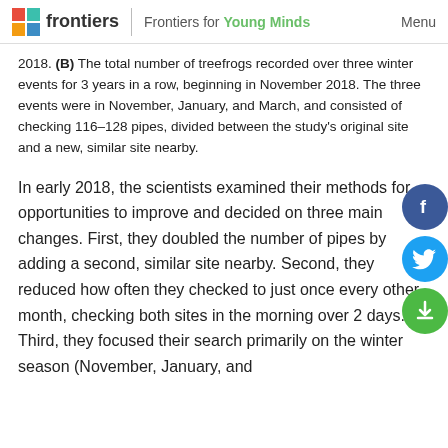frontiers | Frontiers for Young Minds  Menu
2018. (B) The total number of treefrogs recorded over three winter events for 3 years in a row, beginning in November 2018. The three events were in November, January, and March, and consisted of checking 116–128 pipes, divided between the study's original site and a new, similar site nearby.
In early 2018, the scientists examined their methods for opportunities to improve and decided on three main changes. First, they doubled the number of pipes by adding a second, similar site nearby. Second, they reduced how often they checked to just once every other month, checking both sites in the morning over 2 days. Third, they focused their search primarily on the winter season (November, January, and